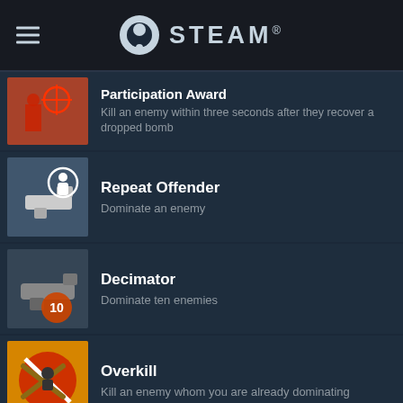STEAM
Participation Award — Kill an enemy within three seconds after they recover a dropped bomb
Repeat Offender — Dominate an enemy
Decimator — Dominate ten enemies
Overkill — Kill an enemy whom you are already dominating
Command and Control — Kill 100 enemies whom you are already dominating